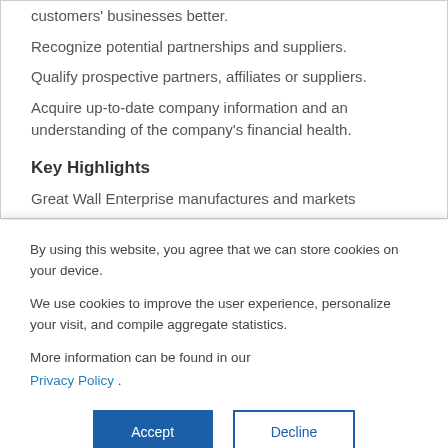customers' businesses better.
Recognize potential partnerships and suppliers.
Qualify prospective partners, affiliates or suppliers.
Acquire up-to-date company information and an understanding of the company's financial health.
Key Highlights
Great Wall Enterprise manufactures and markets
By using this website, you agree that we can store cookies on your device.
We use cookies to improve the user experience, personalize your visit, and compile aggregate statistics.
More information can be found in our Privacy Policy .